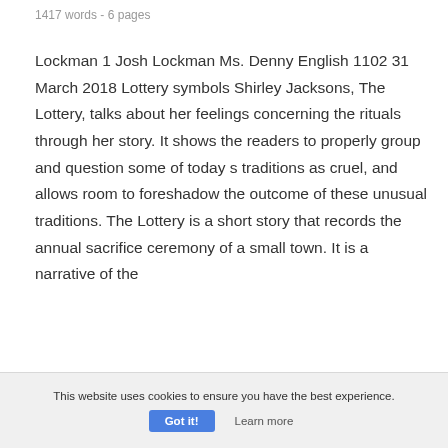1417 words - 6 pages
Lockman 1 Josh Lockman Ms. Denny English 1102 31 March 2018 Lottery symbols Shirley Jacksons, The Lottery, talks about her feelings concerning the rituals through her story. It shows the readers to properly group and question some of today s traditions as cruel, and allows room to foreshadow the outcome of these unusual traditions. The Lottery is a short story that records the annual sacrifice ceremony of a small town. It is a narrative of the
This website uses cookies to ensure you have the best experience. Got it! Learn more